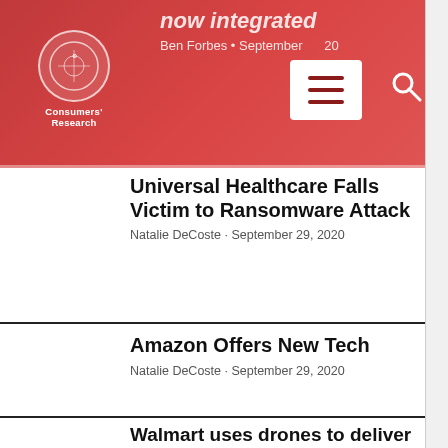now integrated — Ben Forbes • September 2020
Universal Healthcare Falls Victim to Ransomware Attack
Natalie DeCoste • September 29, 2020
Amazon Offers New Tech
Natalie DeCoste • September 29, 2020
Walmart uses drones to deliver COVID-19 tests
Leonard Robinson • September 25, 2020